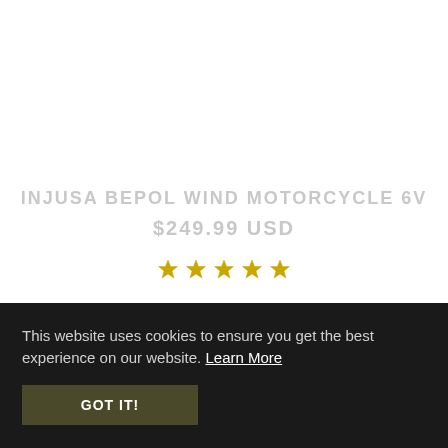INJUSA BEPOL WIND MOTORCYCLE 6V
$249.99 USD
[Figure (other): Five star rating icons displayed in a row]
This website uses cookies to ensure you get the best experience on our website. Learn More
GOT IT!